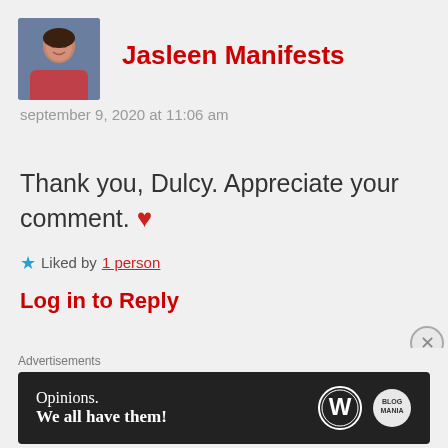Jasleen Manifests
september 9, 2020 at 11:06 am
Thank you, Dulcy. Appreciate your comment. ❤
★ Liked by 1 person
Log in to Reply
Advertisements
[Figure (other): Advertisement banner: Opinions. We all have them! with WordPress and another logo]